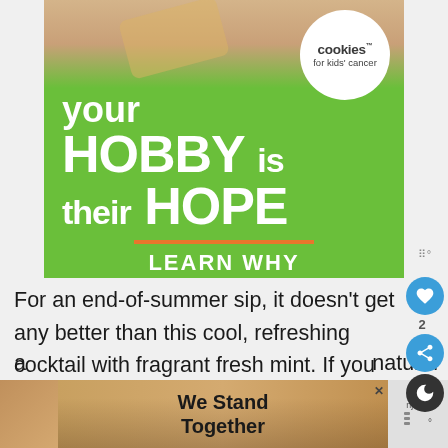[Figure (infographic): Cookies for Kids' Cancer advertisement. Green background with white text reading 'your HOBBY is their HOPE' with 'LEARN WHY' below an orange underline. White circle logo in top right with 'cookies for kids' cancer' text. Hand holding a yellow cookie shape visible at top.]
For an end-of-summer sip, it doesn't get any better than this cool, refreshing cocktail with fragrant fresh mint. If you like your drinks sweeter, add more limoncello – a thick, lemony vodka syrup – or if you like 'em dry like me, just
[Figure (photo): Bottom advertisement banner showing a group of people with arms around each other viewed from behind, with text 'We Stand Together' and a close button X.]